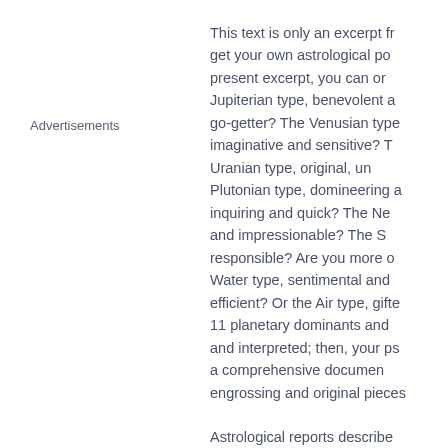Advertisements
This text is only an excerpt fr... get your own astrological po... present excerpt, you can or... Jupiterian type, benevolent a... go-getter? The Venusian type... imaginative and sensitive? T... Uranian type, original, un... Plutonian type, domineering a... inquiring and quick? The Ne... and impressionable? The S... responsible? Are you more o... Water type, sentimental and... efficient? Or the Air type, gifte... 11 planetary dominants and ... and interpreted; then, your ps... a comprehensive documen... engrossing and original pieces
Astrological reports describe... sometimes go deeper into